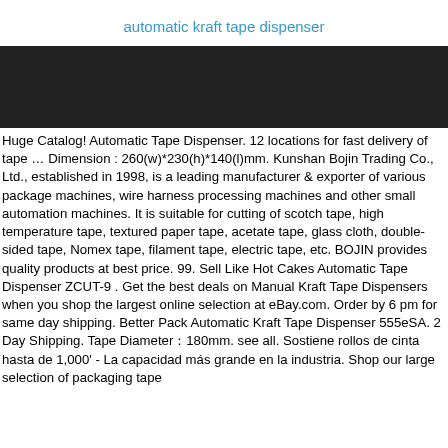automatic kraft tape dispenser
[Figure (photo): Dark/black banner image area]
Huge Catalog! Automatic Tape Dispenser. 12 locations for fast delivery of tape … Dimension : 260(w)*230(h)*140(l)mm. Kunshan Bojin Trading Co., Ltd., established in 1998, is a leading manufacturer & exporter of various package machines, wire harness processing machines and other small automation machines. It is suitable for cutting of scotch tape, high temperature tape, textured paper tape, acetate tape, glass cloth, double-sided tape, Nomex tape, filament tape, electric tape, etc. BOJIN provides quality products at best price. 99. Sell Like Hot Cakes Automatic Tape Dispenser ZCUT-9 . Get the best deals on Manual Kraft Tape Dispensers when you shop the largest online selection at eBay.com. Order by 6 pm for same day shipping. Better Pack Automatic Kraft Tape Dispenser 555eSA. 2 Day Shipping. Tape Diameter：180mm. see all. Sostiene rollos de cinta hasta de 1,000' - La capacidad más grande en la industria. Shop our large selection of packaging tape